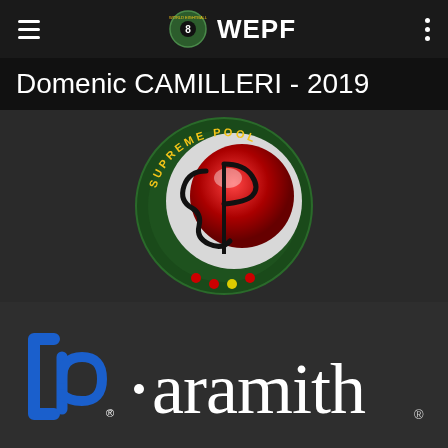WEPF
Domenic CAMILLERI - 2019
[Figure (logo): Supreme Pool circular logo with a red billiard ball and a stylized 'S/C' letter design]
[Figure (logo): Aramith billiard balls brand logo in blue and white]